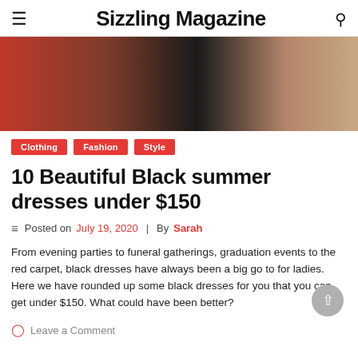Sizzling Magazine
[Figure (photo): Close-up photo of a woman in a black satin dress against a red/dark background, showing torso and arm.]
Clothing
Fashion
Style
10 Beautiful Black summer dresses under $150
Posted on July 19, 2020 | By Sarah
From evening parties to funeral gatherings, graduation events to the red carpet, black dresses have always been a big go to for ladies. Here we have rounded up some black dresses for you that you can get under $150. What could have been better?
Leave a Comment